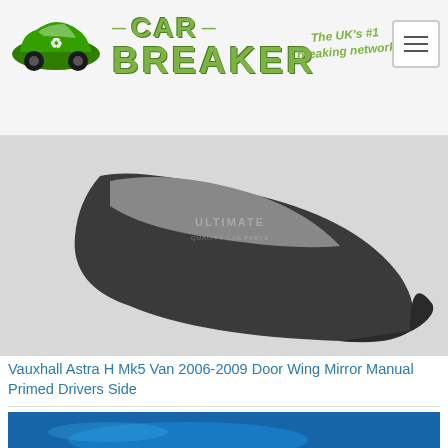[Figure (logo): Car Breaker logo: green car with recycling arrows, 'CAR BREAKER' text in green, 'The UK's #1 breaking network' tagline, and hamburger menu icon]
[Figure (photo): Vauxhall Astra H Mk5 Van door wing mirror, black/grey primed, manual, drivers side, brand watermark 'ULTIMATE QUALITY CAR PARTS']
Vauxhall Astra H Mk5 Van 2006-2009 Door Wing Mirror Manual Primed Drivers Side
[Figure (photo): Partial photo of blue car part with yellow text 'FREE 1ST CLASS SAME DAY DISPATCH IF ORDERED BEFORE 11AM MON-FRI' and white text 'PAINTEDPARTZ-07527579821, 100% BRAND NEW GENUINE VAUXHALL PARTS']